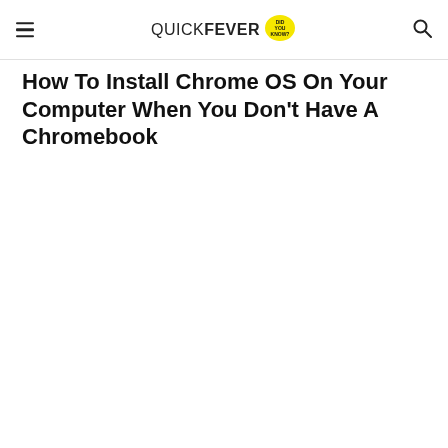QUICKFEVER DID YOU KNOW?
How To Install Chrome OS On Your Computer When You Don't Have A Chromebook